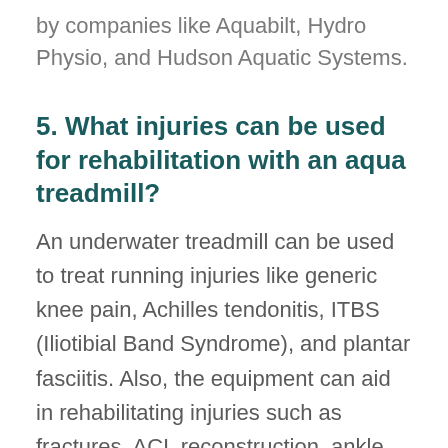by companies like Aquabilt, Hydro Physio, and Hudson Aquatic Systems.
5. What injuries can be used for rehabilitation with an aqua treadmill?
An underwater treadmill can be used to treat running injuries like generic knee pain, Achilles tendonitis, ITBS (Iliotibial Band Syndrome), and plantar fasciitis. Also, the equipment can aid in rehabilitating injuries such as fractures, ACL reconstruction, ankle sprains, and other knee injuries.